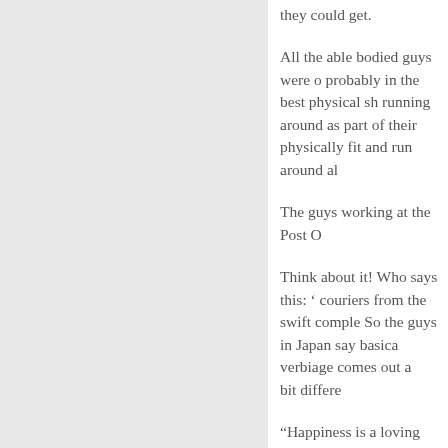they could get.
All the able bodied guys were probably in the best physical shape, running around as part of their physically fit and run around al
The guys working at the Post O
Think about it! Who says this: couriers from the swift comple So the guys in Japan say basica verbiage comes out a bit differe
“Happiness is a loving each ma
Or something like that.
Anyway, the Japanese postal w shape than the guys sitting at o the front to fight in the war. An